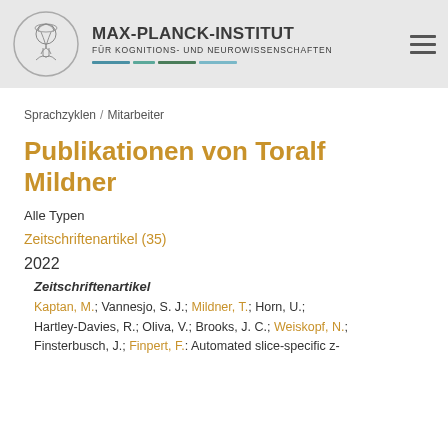[Figure (logo): Max-Planck-Institut für Kognitions- und Neurowissenschaften logo with circular emblem and colored bars]
MAX-PLANCK-INSTITUT FÜR KOGNITIONS- UND NEUROWISSENSCHAFTEN
Sprachzyklen / Mitarbeiter
Publikationen von Toralf Mildner
Alle Typen
Zeitschriftenartikel (35)
2022
Zeitschriftenartikel
Kaptan, M.; Vannesjo, S. J.; Mildner, T.; Horn, U.; Hartley-Davies, R.; Oliva, V.; Brooks, J. C.; Weiskopf, N.; Finsterbusch, J.; Finpert, F.; Automated slice-specific z-